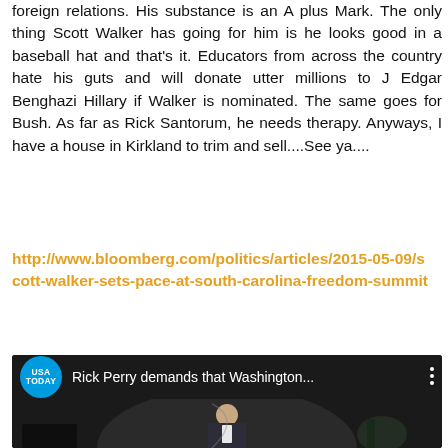foreign relations. His substance is an A plus Mark. The only thing Scott Walker has going for him is he looks good in a baseball hat and that's it. Educators from across the country hate his guts and will donate utter millions to J Edgar Benghazi Hillary if Walker is nominated. The same goes for Bush. As far as Rick Santorum, he needs therapy. Anyways, I have a house in Kirkland to trim and sell....See ya....
http://www.bloomberg.com/politics/articles/2015-05-09/scott-walker-sets-pace-at-south-carolina-freedom-summit
[Figure (screenshot): USA Today YouTube video thumbnail showing 'Rick Perry demands that Washington...' with a speaker figure on stage, GREENVILL label visible in upper right]